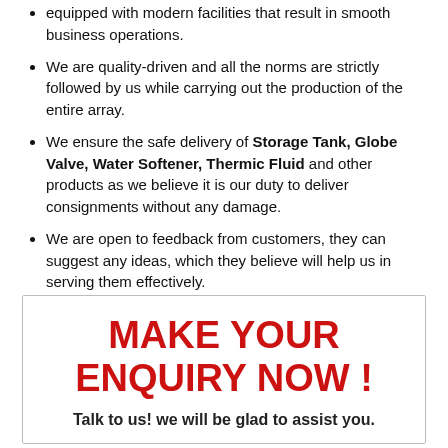equipped with modern facilities that result in smooth business operations.
We are quality-driven and all the norms are strictly followed by us while carrying out the production of the entire array.
We ensure the safe delivery of Storage Tank, Globe Valve, Water Softener, Thermic Fluid and other products as we believe it is our duty to deliver consignments without any damage.
We are open to feedback from customers, they can suggest any ideas, which they believe will help us in serving them effectively.
MAKE YOUR ENQUIRY NOW !
Talk to us! we will be glad to assist you.